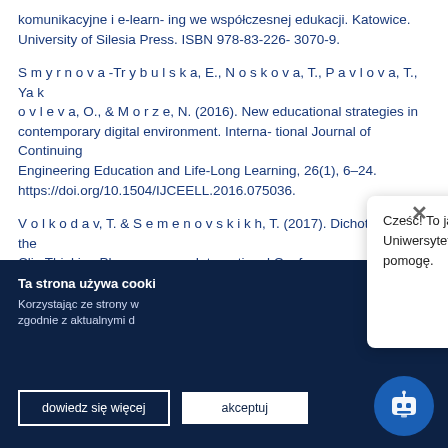komunikacyjne i e-learn- ing we współczesnej edukacji. Katowice. University of Silesia Press. ISBN 978-83-226- 3070-9.
S m y r n o v a -Tr y b u l s k a, E., N o s k o v a, T., P a v l o v a, T., Ya k o v l e v a, O., & M o r z e, N. (2016). New educational strategies in contemporary digital environment. Interna- tional Journal of Continuing Engineering Education and Life-Long Learning, 26(1), 6–24. https://doi.org/10.1504/IJCEELL.2016.075036.
V o l k o d a v, T. & S e m e n o v s k i k h, T. (2017). Dichotomy of the Clip Thinking Phenome- non. International Conference on Education, Psychology, and Social Sciences, 4, 345–353. ISSN 2518-2498.
Ta strona używa cooki... Korzystając ze strony w... zgodnie z aktualnymi d...
Cześć! To ja, Wirtualny Asystent Uniwersytetu Śląskiego 🤖 Chętnie Ci pomogę.